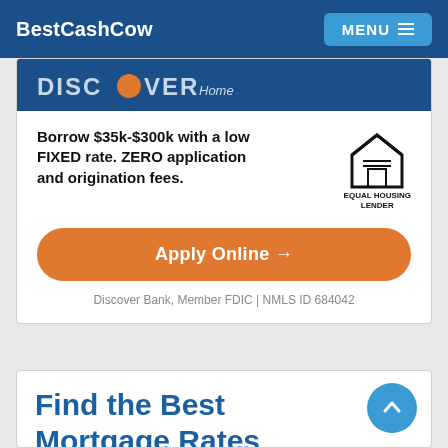BestCashCow  MENU
[Figure (infographic): Discover Home Loans advertisement with Equal Housing Lender logo, text about borrowing $35k-$300k with low fixed rate and zero application and origination fees, an orange Apply Online button, and FDIC disclaimer.]
Borrow $35k-$300k with a low FIXED rate. ZERO application and origination fees.
Apply Online →
Discover Bank, Member FDIC | NMLS ID 684042
Find the Best Mortgage Rates